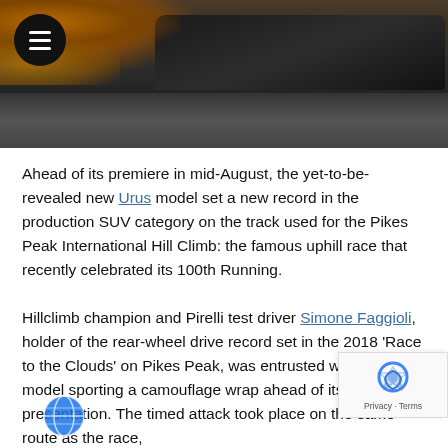[Figure (photo): Dark photo of a black SUV (camouflage-wrapped) on a road/track, with autumn foliage visible at upper left. A hamburger menu icon in a black circle appears at top-left.]
Ahead of its premiere in mid-August, the yet-to-be-revealed new Urus model set a new record in the production SUV category on the track used for the Pikes Peak International Hill Climb: the famous uphill race that recently celebrated its 100th Running.
Hillclimb champion and Pirelli test driver Simone Faggioli, holder of the rear-wheel drive record set in the 2018 'Race to the Clouds' on Pikes Peak, was entrusted with the new model sporting a camouflage wrap ahead of its official presentation. The timed attack took place on the same route as the race,